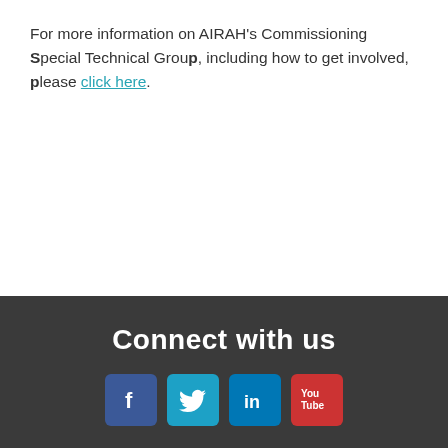For more information on AIRAH's Commissioning Special Technical Group, including how to get involved, please click here.
Connect with us